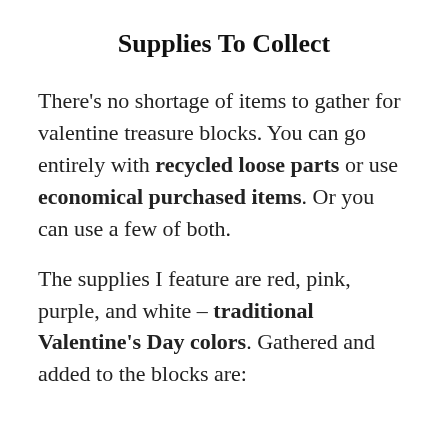Supplies To Collect
There's no shortage of items to gather for valentine treasure blocks. You can go entirely with recycled loose parts or use economical purchased items. Or you can use a few of both.
The supplies I feature are red, pink, purple, and white – traditional Valentine's Day colors. Gathered and added to the blocks are: